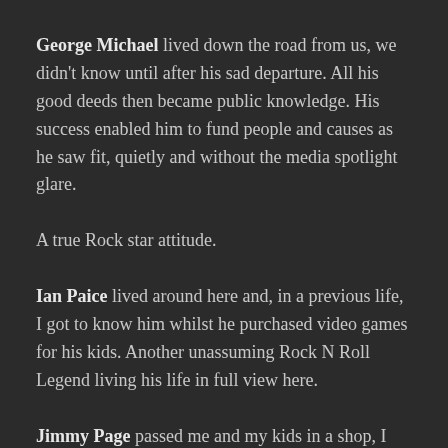George Michael lived down the road from us, we didn't know until after his sad departure. All his good deeds then became public knowledge. His success enabled him to fund people and causes as he saw fit, quietly and without the media spotlight glare.
A true Rock star attitude.
Ian Paice lived around here and, in a previous life, I got to know him whilst he purchased video games for his kids. Another unassuming Rock N Roll Legend living his life in full view here.
Jimmy Page passed me and my kids in a shop, I wished him a good afternoon and we went on our way. “Who was That Dad?” asked the eldest. “That, daughter dear is a god. A rock star. “He’s not, he’s